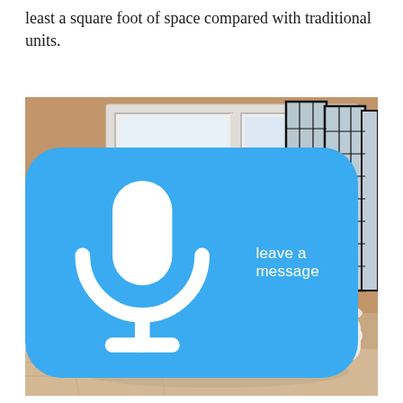least a square foot of space compared with traditional units.
[Figure (photo): Interior bathroom photo showing a white clawfoot freestanding bathtub with ornate silver feet, positioned in front of a large white-trimmed window letting in bright light. On the left side are large green leafy plants. To the right is a black Japanese-style grid room divider/shoji screen. The walls have white wainscoting on the lower half and tan/beige paint above. The floor appears to be light wood. A dark towel is draped over the right side of the tub. In the lower-right corner of the image is a blue rounded-rectangle button overlay with a microphone icon and the text 'leave a message'.]